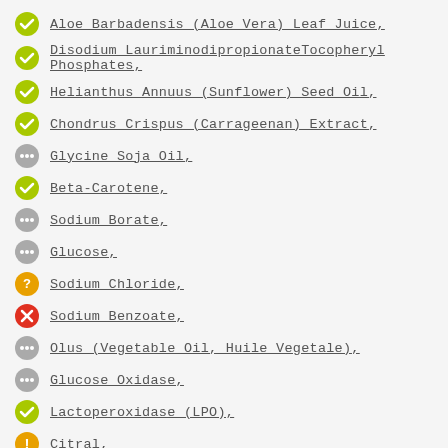Aloe Barbadensis (Aloe Vera) Leaf Juice,
Disodium Lauriminodipropionate Tocopheryl Phosphates,
Helianthus Annuus (Sunflower) Seed Oil,
Chondrus Crispus (Carrageenan) Extract,
Glycine Soja Oil,
Beta-Carotene,
Sodium Borate,
Glucose,
Sodium Chloride,
Sodium Benzoate,
Olus (Vegetable Oil, Huile Vegetale),
Glucose Oxidase,
Lactoperoxidase (LPO),
Citral,
Citronellol,
Eugenol,